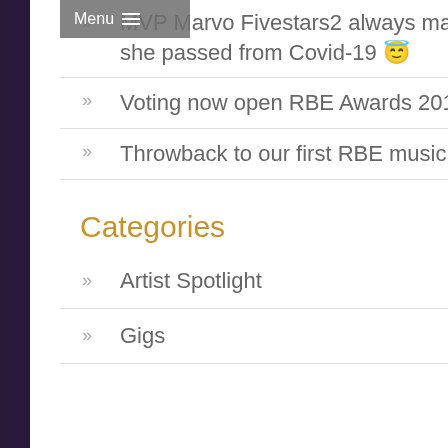Menu
MVP Marvo Fivestars2 always making mum proud, she passed from Covid-19 😇
Voting now open RBE Awards 2019
Throwback to our first RBE music showcase line up
Categories
Artist Spotlight
Gigs